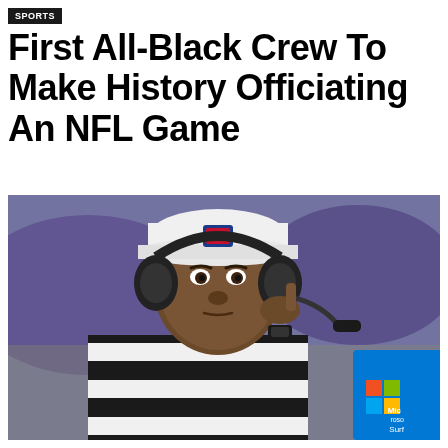SPORTS
First All-Black Crew To Make History Officiating An NFL Game
[Figure (photo): An NFL referee wearing a black and white striped uniform, white NFL visor cap, and Bose headset with microphone. The referee appears to be listening through the headset with one hand raised near his ear. A Microsoft Surface tablet is visible in the background on the right side. The background shows a blurred stadium scene.]